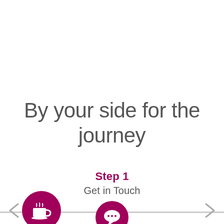By your side for the journey
Step 1
Get in Touch
[Figure (illustration): Dark pink/magenta circle with white coffee cup icon on the left side of the bottom navigation bar]
[Figure (illustration): Dark pink/magenta circle with white speech bubble icon in the center of the bottom navigation bar]
[Figure (illustration): Right arrow navigation chevron on the far right of the bottom area]